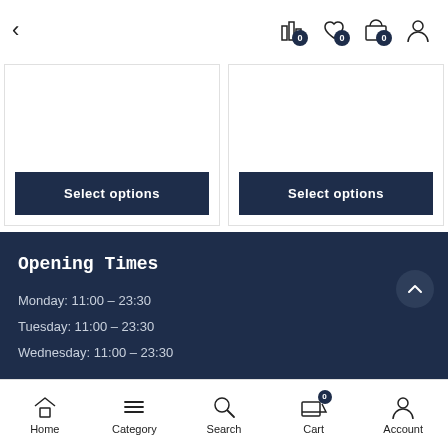[Figure (screenshot): Top navigation bar with back arrow and icons for compare (0), wishlist (0), cart (0), and account]
[Figure (screenshot): Two product cards each with a dark navy 'Select options' button]
Opening Times
Monday: 11:00 – 23:30
Tuesday: 11:00 – 23:30
Wednesday: 11:00 – 23:30
[Figure (screenshot): Bottom navigation bar with Home, Category, Search, Cart (0), Account icons]